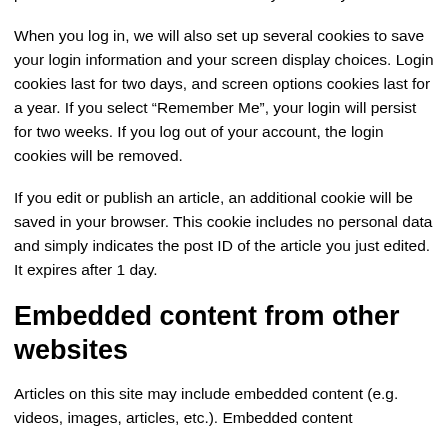personal data and is discarded when you close your browser.
When you log in, we will also set up several cookies to save your login information and your screen display choices. Login cookies last for two days, and screen options cookies last for a year. If you select “Remember Me”, your login will persist for two weeks. If you log out of your account, the login cookies will be removed.
If you edit or publish an article, an additional cookie will be saved in your browser. This cookie includes no personal data and simply indicates the post ID of the article you just edited. It expires after 1 day.
Embedded content from other websites
Articles on this site may include embedded content (e.g. videos, images, articles, etc.). Embedded content